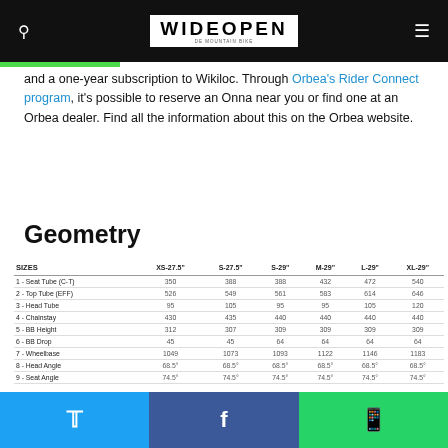WIDEOPEN
and a one-year subscription to Wikiloc. Through Orbea's Rider Connect program, it's possible to reserve an Onna near you or find one at an Orbea dealer. Find all the information about this on the Orbea website.
Geometry
| SIZES | XS-27.5" | S-27.5" | S-29" | M-29" | L-29" | XL-29" |
| --- | --- | --- | --- | --- | --- | --- |
| 1 - Seat Tube (C-T) | 350 | 388 | 388 | 432 | 472 | 540 |
| 2 - Top Tube (EFF) | 526 | 549 | 561 | 583 | 614 | 646 |
| 3 - Head Tube | 95 | 105 | 95 | 95 | 105 | 120 |
| 4 - Chainstay | 430 | 435 | 440 | 440 | 440 | 440 |
| 5 - BB Height | 312 | 307 | 309 | 309 | 309 | 309 |
| 6 - BB Drop | 45 | 45 | 64 | 64 | 64 | 64 |
| 7 - Wheelbase | 1049 | 1073 | 1093 | 1122 | 1146 | 1183 |
| 8 - Head Angle | 68.5° | 68.5° | 68.5° | 68.5° | 68.5° | 68.5° |
| 9 - Seat Angle | 74.5° | 74.5° | 74.5° | 74.5° | 74.5° | 74.5° |
| 10 - Standover | 668 | 705 | 705 | 739 | 770 | 829 |
| 11 - Reach | 355 | 385 | 390 | 418 | 440 | 468 |
| 12 - Stack | 582 | 581 | 617 | 617 | 627 | 641 |
| 13 - Fork Length | 498.9 | 498.9 | 517.9 | 517.9 | 517.9 | 517.9 |
Twitter | Facebook | WhatsApp